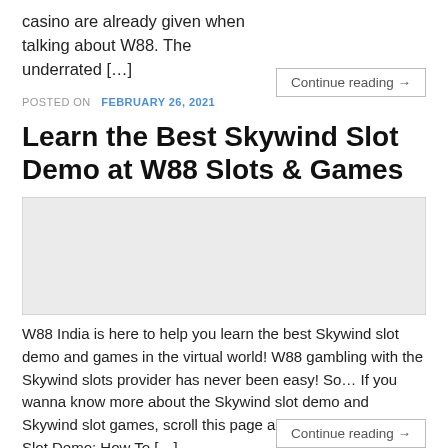casino are already given when talking about W88. The underrated […]
Continue reading →
POSTED ON  FEBRUARY 26, 2021
Learn the Best Skywind Slot Demo at W88 Slots & Games
[Figure (other): Light grey placeholder image block]
W88 India is here to help you learn the best Skywind slot demo and games in the virtual world! W88 gambling with the Skywind slots provider has never been easy! So… If you wanna know more about the Skywind slot demo and Skywind slot games, scroll this page and read on! Skywind Slot Demo: How To […]
Continue reading →